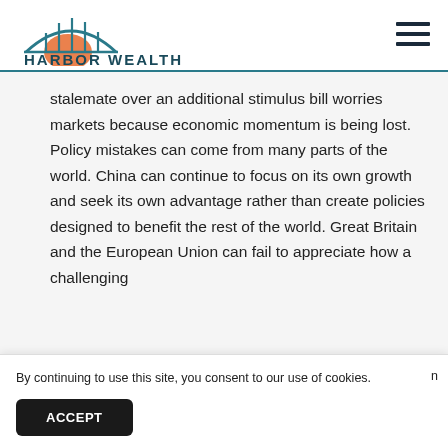[Figure (logo): Harbor Wealth logo with bridge/arch graphic over a sunrise in orange and teal, with text 'HARBOR WEALTH' below in teal]
stalemate over an additional stimulus bill worries markets because economic momentum is being lost. Policy mistakes can come from many parts of the world. China can continue to focus on its own growth and seek its own advantage rather than create policies designed to benefit the rest of the world. Great Britain and the European Union can fail to appreciate how a challenging
By continuing to use this site, you consent to our use of cookies.
ACCEPT